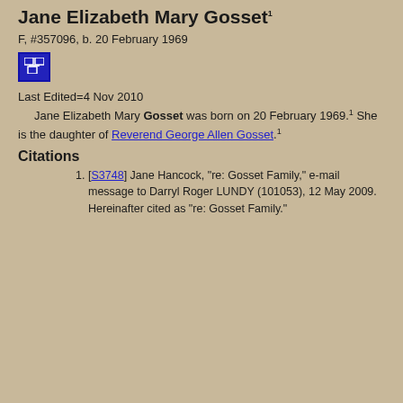Jane Elizabeth Mary Gosset1
F, #357096, b. 20 February 1969
Last Edited=4 Nov 2010
Jane Elizabeth Mary Gosset was born on 20 February 1969.1 She is the daughter of Reverend George Allen Gosset.1
Citations
[S3748] Jane Hancock, "re: Gosset Family," e-mail message to Darryl Roger LUNDY (101053), 12 May 2009. Hereinafter cited as "re: Gosset Family."